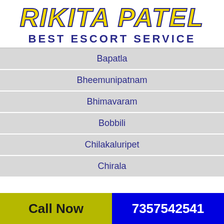RIKITA PATEL BEST ESCORT SERVICE
Bapatla
Bheemunipatnam
Bhimavaram
Bobbili
Chilakaluripet
Chirala
Call Now  7357542541